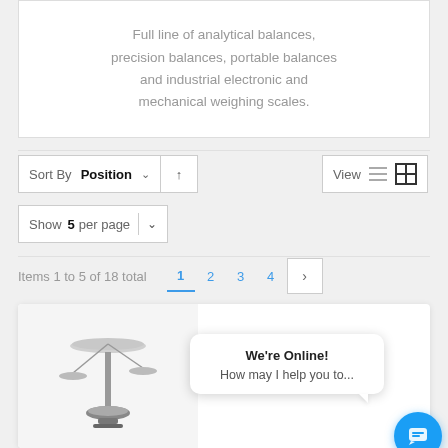Full line of analytical balances, precision balances, portable balances and industrial electronic and mechanical weighing scales.
Sort By Position ↑ View
Show 5 per page
Items 1 to 5 of 18 total  1 2 3 4 ›
[Figure (photo): Product card showing an analytical balance scale with a chat popup overlay saying 'We're Online! How may I help you to...' and a blue chat button in the bottom right.]